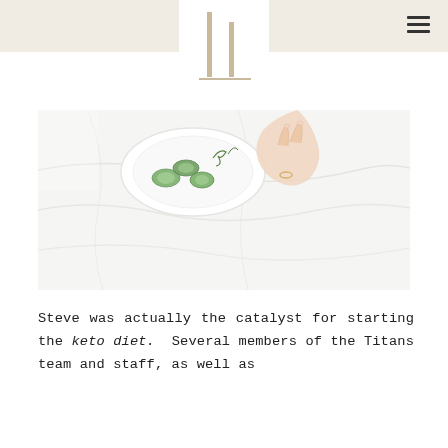[Figure (logo): Minimalist logo with two vertical bars and a horizontal base line, resembling stylized letters, shown on a warm beige header background]
[Figure (photo): A hand with a ring reaching toward a white plate with sliced cucumbers and herbs, placed on a white wrinkled fabric surface]
Steve was actually the catalyst for starting the keto diet. Several members of the Titans team and staff, as well as